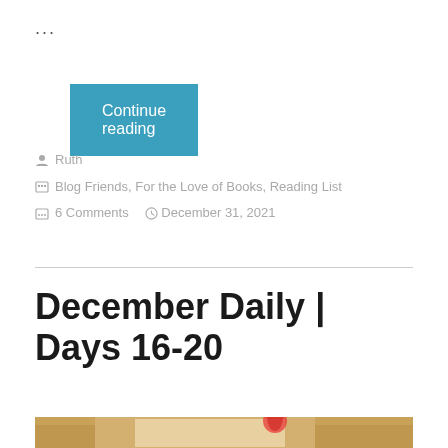...
Continue reading
Ruth
Blog Friends, For the Love of Books, Reading List
6 Comments   December 31, 2021
December Daily | Days 16-20
[Figure (photo): Photo of a scrapbook or album open to pages with a person's photo visible, with a red feathery decoration on top, on a wooden surface.]